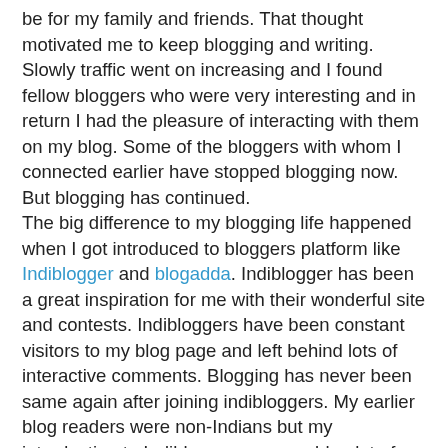be for my family and friends. That thought motivated me to keep blogging and writing. Slowly traffic went on increasing and I found fellow bloggers who were very interesting and in return I had the pleasure of interacting with them on my blog. Some of the bloggers with whom I connected earlier have stopped blogging now. But blogging has continued. The big difference to my blogging life happened when I got introduced to bloggers platform like Indiblogger and blogadda. Indiblogger has been a great inspiration for me with their wonderful site and contests. Indibloggers have been constant visitors to my blog page and left behind lots of interactive comments. Blogging has never been same again after joining indibloggers. My earlier blog readers were non-Indians but my introduction to Indiblogger gave my blog lot of Indian viewership. On average Indiblogger is source for 25%-35% of my blog traffic. Winning contests on Indibloggers has zipped lips of people who always accused me wasting my time on blogs instead of doing something fruitful. I can never thank indiblogger and fellow indibloggers enough for the support they have shown for me on the site. For a woman hailing from a small coastal village; indiblogger has been a great boost to the confidence. Every contest I